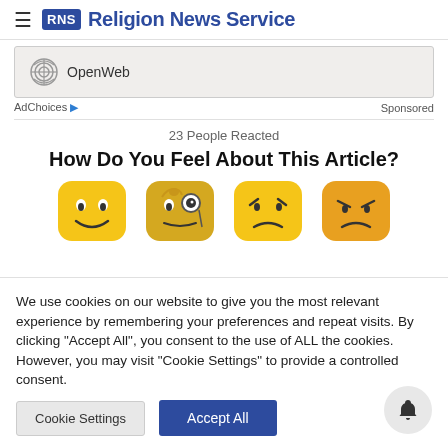RNS Religion News Service
[Figure (screenshot): OpenWeb advertisement banner with OpenWeb logo]
AdChoices ▷ Sponsored
23 People Reacted
How Do You Feel About This Article?
[Figure (illustration): Four emoji faces: happy, curious with monocle, sad/angry, angry]
We use cookies on our website to give you the most relevant experience by remembering your preferences and repeat visits. By clicking "Accept All", you consent to the use of ALL the cookies. However, you may visit "Cookie Settings" to provide a controlled consent.